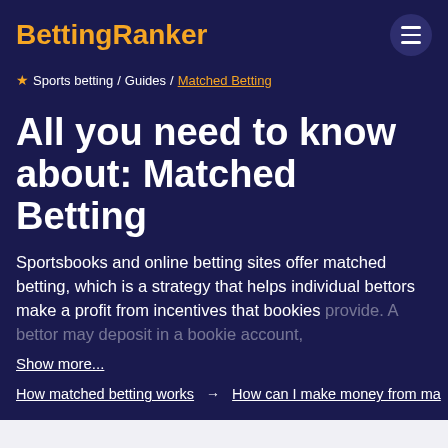BettingRanker
★ Sports betting / Guides / Matched Betting
All you need to know about: Matched Betting
Sportsbooks and online betting sites offer matched betting, which is a strategy that helps individual bettors make a profit from incentives that bookies provide. A bettor may deposit in a bookie account,
Show more...
How matched betting works → How can I make money from ma
How matched betting